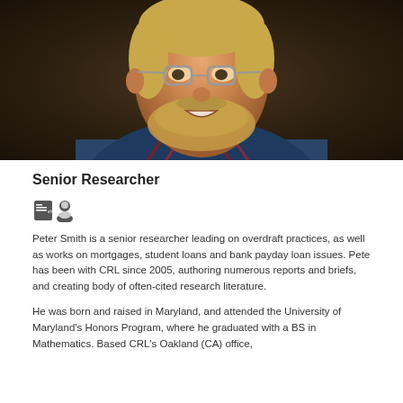[Figure (photo): Headshot portrait of Peter Smith, a man with glasses, blond beard, smiling, wearing a plaid shirt, against a dark background.]
Senior Researcher
[Figure (other): Small icon image (contact/social media icon)]
Peter Smith is a senior researcher leading on overdraft practices, as well as works on mortgages, student loans and bank payday loan issues. Pete has been with CRL since 2005, authoring numerous reports and briefs, and creating body of often-cited research literature.
He was born and raised in Maryland, and attended the University of Maryland's Honors Program, where he graduated with a BS in Mathematics. Based CRL's Oakland (CA) office,